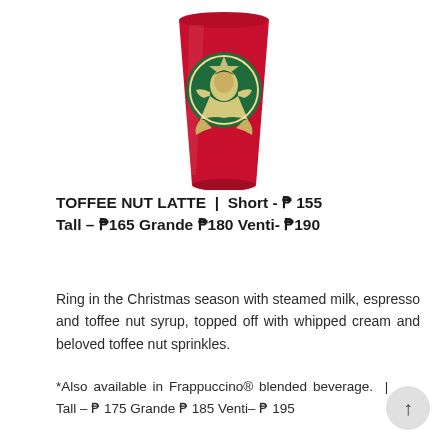[Figure (photo): Red Starbucks holiday cup with green Starbucks siren logo, partially visible from the top portion]
TOFFEE NUT LATTE | Short - ₱ 155 Tall – ₱ 165 Grande ₱ 180 Venti- ₱ 190
Ring in the Christmas season with steamed milk, espresso and toffee nut syrup, topped off with whipped cream and beloved toffee nut sprinkles.
*Also available in Frappuccino® blended beverage. | Tall – ₱ 175 Grande ₱ 185 Venti– ₱ 195